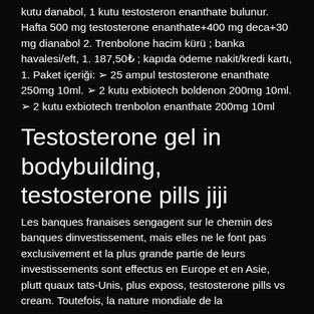kutu danabol, 1 kutu testosteron enanthate bulunur. Hafta 500 mg testosterone enanthate+400 mg deca+30 mg dianabol 2. Trenbolone hacim kürü ; banka havalesi/eft, 1. 187,50₺ ; kapıda ödeme nakit/kredi kartı, 1. Paket içeriği: ➢ 25 ampul testosterone enanthate 250mg 10ml. ➢ 2 kutu exbiotech boldenon 200mg 10ml. ➢ 2 kutu exbiotech trenbolon enanthate 200mg 10ml
Testosterone gel in bodybuilding, testosterone pills jiji
Les banques franaises sengagent sur le chemin des banques dinvestissement, mais elles ne le font pas exclusivement et la plus grande partie de leurs investissements sont effectus en Europe et en Asie, plutt quaux tats-Unis, plus exposs, testosterone pills vs cream. Toutefois, la nature mondiale de la